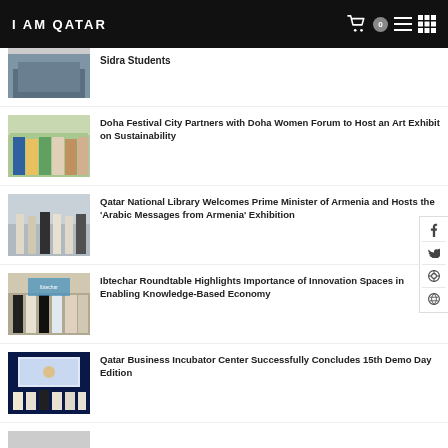I AM QATAR
[Figure (photo): Thumbnail photo for Sidra Students article]
Sidra Students
[Figure (photo): Group photo of women at Doha Festival City Women Forum art exhibit event]
Doha Festival City Partners with Doha Women Forum to Host an Art Exhibit on Sustainability
[Figure (photo): People at Qatar National Library event with Armenia Prime Minister]
Qatar National Library Welcomes Prime Minister of Armenia and Hosts the 'Arabic Messages from Armenia' Exhibition
[Figure (photo): Group of people standing at Ibtechar Roundtable event]
Ibtechar Roundtable Highlights Importance of Innovation Spaces in Enabling Knowledge-Based Economy
[Figure (photo): Group seated at Qatar Business Incubator Center Demo Day event]
Qatar Business Incubator Center Successfully Concludes 15th Demo Day Edition
[Figure (photo): Partial thumbnail of another article at bottom of page]